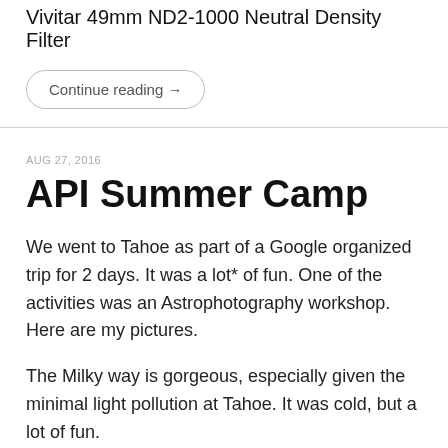Vivitar 49mm ND2-1000 Neutral Density Filter
Continue reading →
AUG 27, 2016
API Summer Camp
We went to Tahoe as part of a Google organized trip for 2 days. It was a lot* of fun. One of the activities was an Astrophotography workshop. Here are my pictures.
The Milky way is gorgeous, especially given the minimal light pollution at Tahoe. It was cold, but a lot of fun.